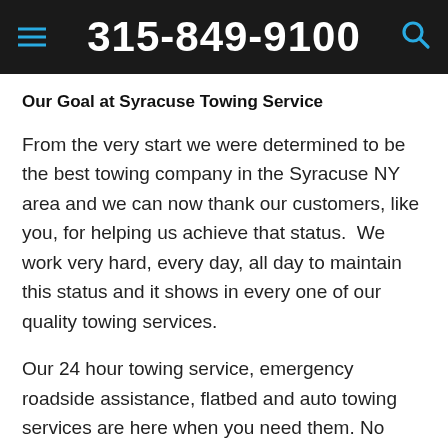315-849-9100
Our Goal at Syracuse Towing Service
From the very start we were determined to be the best towing company in the Syracuse NY area and we can now thank our customers, like you, for helping us achieve that status.  We work very hard, every day, all day to maintain this status and it shows in every one of our quality towing services.
Our 24 hour towing service, emergency roadside assistance, flatbed and auto towing services are here when you need them. No matter what time,